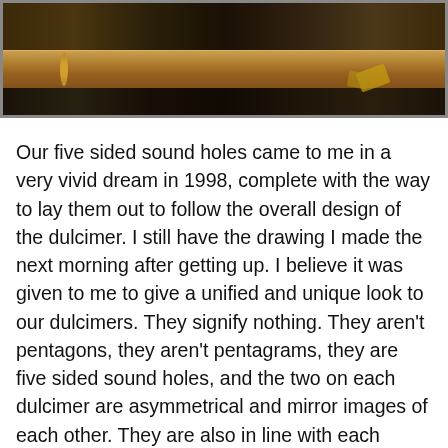[Figure (photo): Partial view of a wooden workbench or dulcimer-making setup, showing a wooden bar/frame against a dark background with tools and materials visible.]
Our five sided sound holes came to me in a very vivid dream in 1998, complete with the way to lay them out to follow the overall design of the dulcimer. I still have the drawing I made the next morning after getting up. I believe it was given to me to give a unified and unique look to our dulcimers. They signify nothing. They aren't pentagons, they aren't pentagrams, they are five sided sound holes, and the two on each dulcimer are asymmetrical and mirror images of each other. They are also in line with each other, and all the lines are geometrically laid out. Each line of the sound hole is either parallel with or perpendicular to one of the outer lines of the dulcimer. So they echo the overall design of the dulcimer which of course is very...